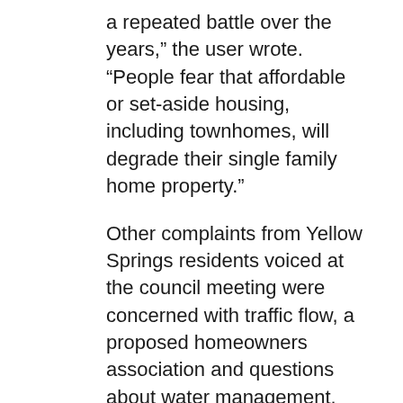a repeated battle over the years,” the user wrote. “People fear that affordable or set-aside housing, including townhomes, will degrade their single family home property.”
Other complaints from Yellow Springs residents voiced at the council meeting were concerned with traffic flow, a proposed homeowners association and questions about water management.
One resident, Matthew Kirk, spoke to Dayton Daily News, saying that he liked the idea at first but eventually changed his mind. “I think it’s important to kind of understand the framing and also understand how those products attract different homebuyers,” Kirk said.